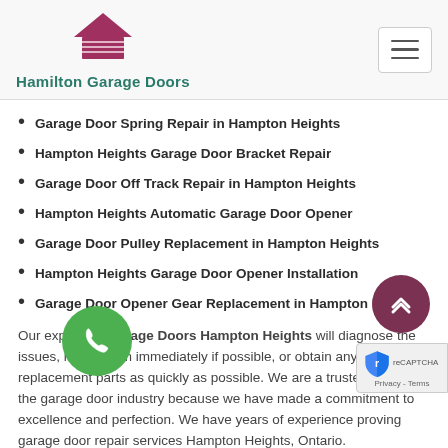Hamilton Garage Doors
Garage Door Spring Repair in Hampton Heights
Hampton Heights Garage Door Bracket Repair
Garage Door Off Track Repair in Hampton Heights
Hampton Heights Automatic Garage Door Opener
Garage Door Pulley Replacement in Hampton Heights
Hampton Heights Garage Door Opener Installation
Garage Door Opener Gear Replacement in Hampton Heights
Our experts at Garage Doors Hampton Heights will diagnose the issues, repair them immediately if possible, or obtain any necessary replacement parts as quickly as possible. We are a trusted name in the garage door industry because we have made a commitment to excellence and perfection. We have years of experience proving garage door repair services Hampton Heights, Ontario.
Hampton Heights Chamberlain Garage Door Opener
If you are experiencing problems with your Chamberlain door opener or remote, Garage Doors Hampton Heights offers